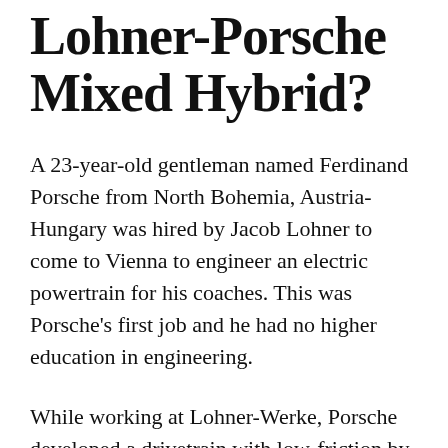Lohner-Porsche Mixed Hybrid?
A 23-year-old gentleman named Ferdinand Porsche from North Bohemia, Austria-Hungary was hired by Jacob Lohner to come to Vienna to engineer an electric powertrain for his coaches. This was Porsche's first job and he had no higher education in engineering.
While working at Lohner-Werke, Porsche developed a drivetrain with low-friction by mounting the electric motors to the hubs...